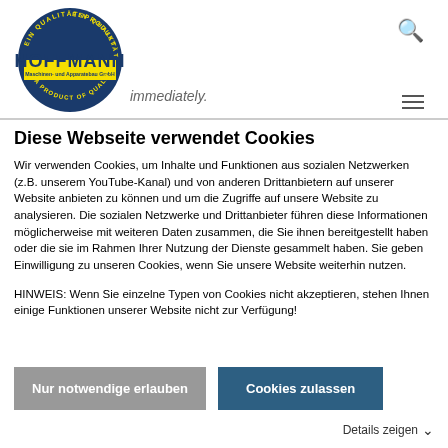[Figure (logo): Hoffmann Maschinen- und Apparatebau GmbH circular logo with yellow background and blue border, text 'EIN QUALITÄTSPRODUKT' and 'A PRODUCT OF QUALITY']
immediately.
Diese Webseite verwendet Cookies
Wir verwenden Cookies, um Inhalte und Funktionen aus sozialen Netzwerken (z.B. unserem YouTube-Kanal) und von anderen Drittanbietern auf unserer Website anbieten zu können und um die Zugriffe auf unsere Website zu analysieren. Die sozialen Netzwerke und Drittanbieter führen diese Informationen möglicherweise mit weiteren Daten zusammen, die Sie ihnen bereitgestellt haben oder die sie im Rahmen Ihrer Nutzung der Dienste gesammelt haben. Sie geben Einwilligung zu unseren Cookies, wenn Sie unsere Website weiterhin nutzen.
HINWEIS: Wenn Sie einzelne Typen von Cookies nicht akzeptieren, stehen Ihnen einige Funktionen unserer Website nicht zur Verfügung!
Nur notwendige erlauben
Cookies zulassen
Details zeigen